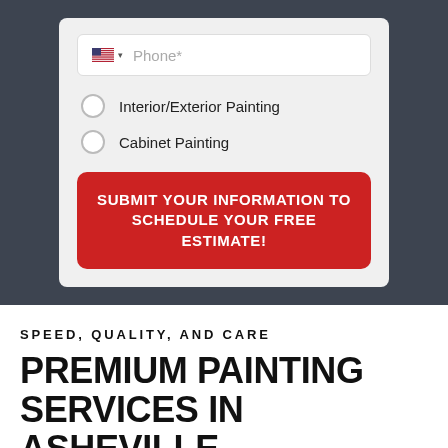[Figure (screenshot): Phone input field with US flag dropdown and placeholder text 'Phone*']
Interior/Exterior Painting
Cabinet Painting
SUBMIT YOUR INFORMATION TO SCHEDULE YOUR FREE ESTIMATE!
SPEED, QUALITY, AND CARE
PREMIUM PAINTING SERVICES IN ASHEVILLE, WEAVERVILLE, AND